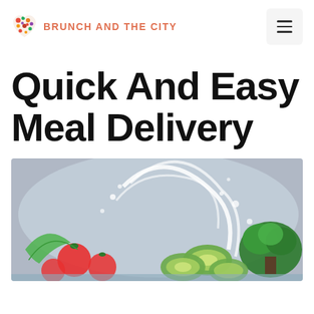BRUNCH AND THE CITY
Quick And Easy Meal Delivery
[Figure (photo): Fresh vegetables including sliced cucumbers, tomatoes, broccoli, and leafy greens splashed with water, dramatic food photography style]